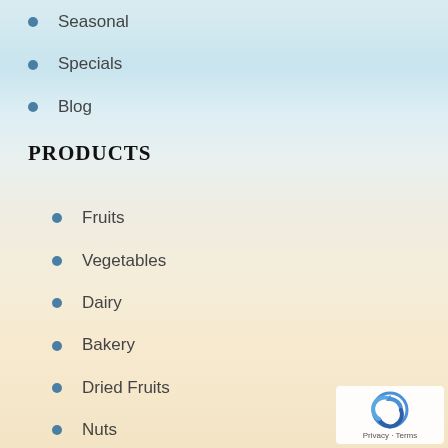Seasonal
Specials
Blog
PRODUCTS
Fruits
Vegetables
Dairy
Bakery
Dried Fruits
Nuts
Snacks